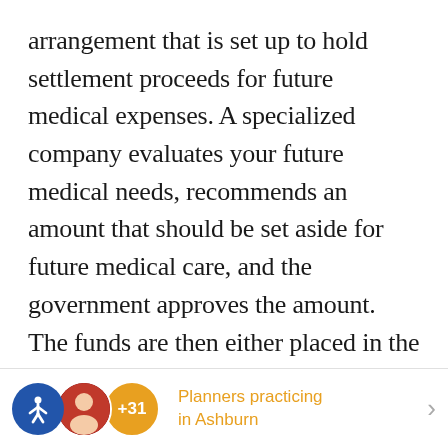arrangement that is set up to hold settlement proceeds for future medical expenses. A specialized company evaluates your future medical needs, recommends an amount that should be set aside for future medical care, and the government approves the amount. The funds are then either placed in the Medicare Set-Aside account in one lump-sum or the account is funded with a "structured settlement annuity" that will refill the account over time. In either case, the administrator of the Medicare Set-Aside trust may use the funds only to pay for medical care related to your personal injury,
Planners practicing in Ashburn